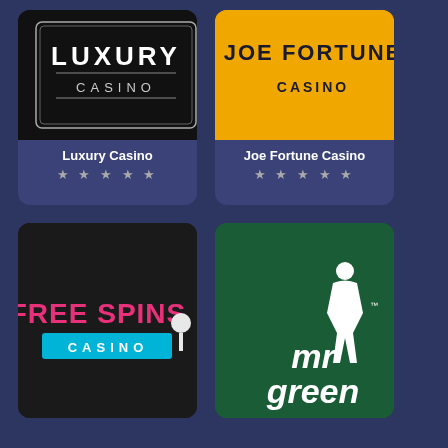[Figure (logo): Luxury Casino logo - white text on black background with decorative border]
Luxury Casino
★ ★ ★ ★ ★
[Figure (logo): Joe Fortune Casino logo - yellow/gold background with dark text]
Joe Fortune Casino
★ ★ ★ ★ ★
[Figure (logo): Free Spins Casino logo - pink/red text FREE SPINS with cyan CASINO bar on dark background]
Free Spins Casino
★ ★ ★ ★ ★
[Figure (logo): Mr Green Casino logo - white mr green text and figure on dark green background]
Mr Green Casino
★ ★ ★ ★ ★